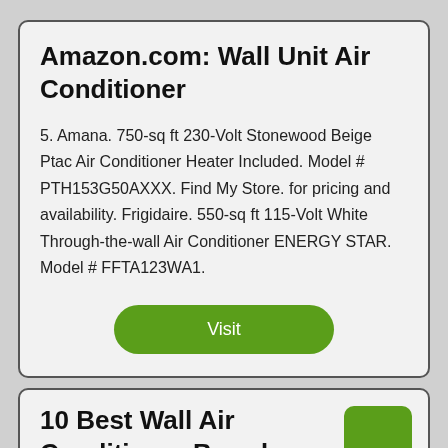Amazon.com: Wall Unit Air Conditioner
5. Amana. 750-sq ft 230-Volt Stonewood Beige Ptac Air Conditioner Heater Included. Model # PTH153G50AXXX. Find My Store. for pricing and availability. Frigidaire. 550-sq ft 115-Volt White Through-the-wall Air Conditioner ENERGY STAR. Model # FFTA123WA1.
Visit
10 Best Wall Air Conditioner Brand